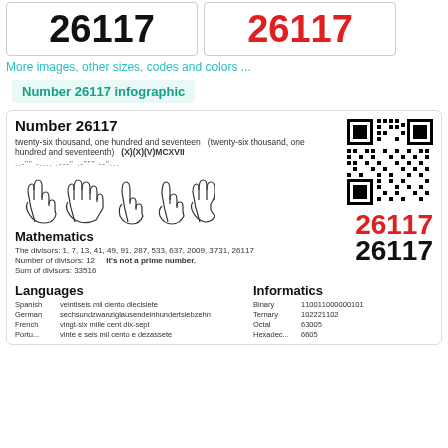[Figure (infographic): Two boxes showing number 26117, one in black and one in red]
More images, other sizes, codes and colors ...
Number 26117 infographic
Number 26117
twenty-six thousand, one hundred and seventeen  (twenty-six thousand, one hundred and seventeenth)  (X)(X)(V)MCXVII
..-"" -.... .---" .-""" --"...
[Figure (illustration): Five hand signs showing fingers representing digits of 26117]
[Figure (other): QR code for number 26117]
26117
26117
Mathematics
The divisors: 1, 7, 13, 41, 49, 91, 287, 533, 637, 2009, 3731, 26117
Number of divisors: 12    It's not a prime number.
Sum of divisors: 33516
Languages
Informatics
Spanish: veintiseis mil ciento diecisiete
German: sechsundzwanziglausendeinhundertsiebzehn
French: vingt-six mille cent dix-sept
Binary: 110011000000101
Ternary: 102221102
Octal: 63005